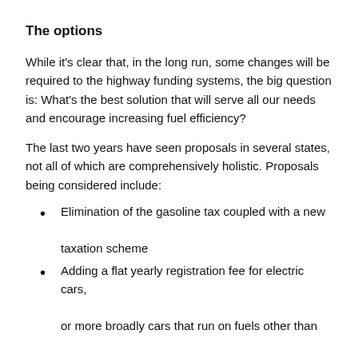The options
While it's clear that, in the long run, some changes will be required to the highway funding systems, the big question is: What's the best solution that will serve all our needs and encourage increasing fuel efficiency?
The last two years have seen proposals in several states, not all of which are comprehensively holistic. Proposals being considered include:
Elimination of the gasoline tax coupled with a new taxation scheme
Adding a flat yearly registration fee for electric cars, or more broadly cars that run on fuels other than gasoline and diesel
Adding a per mile tax for electric cars or those with